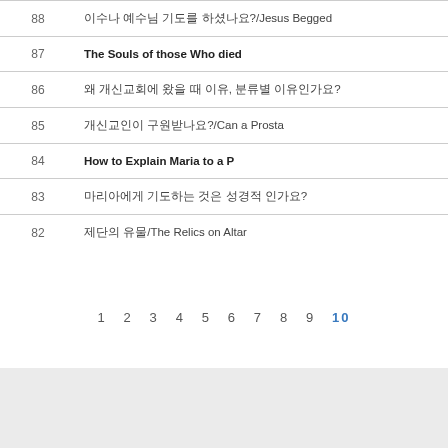| # | Title |
| --- | --- |
| 88 | 이수나 예수님 기도를 하셨나요?/Jesus Begged |
| 87 | The Souls of those Who died |
| 86 | 왜 개신교회에 왔을 때 이유, 분류별 이유인가요? |
| 85 | 개신교인이 구원받나요?/Can a Prosta |
| 84 | How to Explain Maria to a P |
| 83 | 마리아에게 기도하는 것은 성경적 인가요? |
| 82 | 제단의 유물/The Relics on Altar |
1 2 3 4 5 6 7 8 9 10